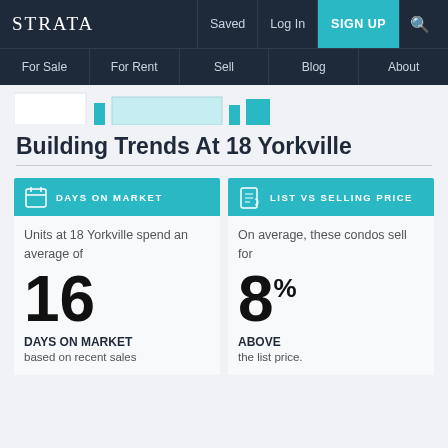STRATA | Saved | Log In | SIGN UP
For Sale | For Rent | Sell | Blog | About
Building Trends At 18 Yorkville
Units at 18 Yorkville spend an average of 16 DAYS ON MARKET based on recent sales
On average, these condos sell for 8% ABOVE the list price.